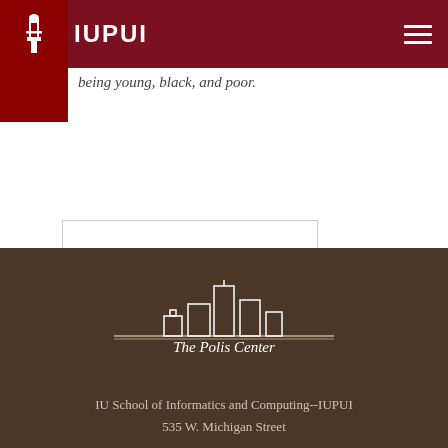IUPUI
being young, black, and poor.
Amazon
[Figure (logo): The Polis Center logo with city skyline outline and text 'The Polis Center']
IU School of Informatics and Computing--IUPUI
535 W. Michigan Street